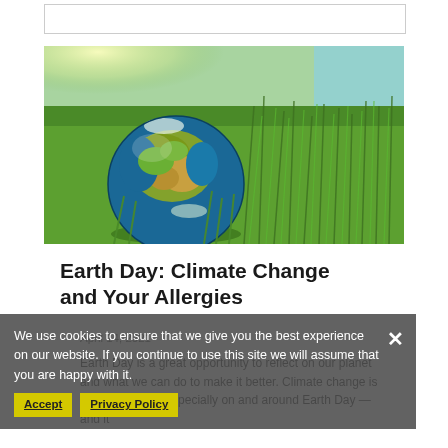[Figure (photo): A globe/Earth model resting in green grass with sunlight in the background]
Earth Day: Climate Change and Your Allergies
April 14, 2021
Earth Day is a great opportunity to reflect on our planet and what we can do to make it better. Climate change is a popular topic, especially on and around Earth Day — and it
We use cookies to ensure that we give you the best experience on our website. If you continue to use this site we will assume that you are happy with it.